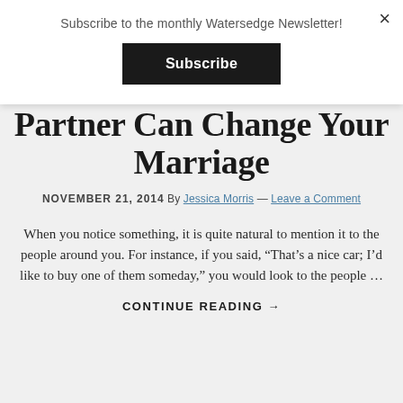Subscribe to the monthly Watersedge Newsletter!
Subscribe
Partner Can Change Your Marriage
NOVEMBER 21, 2014 By Jessica Morris — Leave a Comment
When you notice something, it is quite natural to mention it to the people around you. For instance, if you said, “That’s a nice car; I’d like to buy one of them someday,” you would look to the people …
CONTINUE READING →